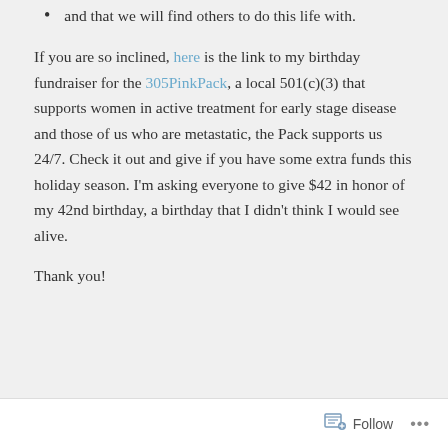and that we will find others to do this life with.
If you are so inclined, here is the link to my birthday fundraiser for the 305PinkPack, a local 501(c)(3) that supports women in active treatment for early stage disease and those of us who are metastatic, the Pack supports us 24/7. Check it out and give if you have some extra funds this holiday season. I'm asking everyone to give $42 in honor of my 42nd birthday, a birthday that I didn't think I would see alive.
Thank you!
Follow ...